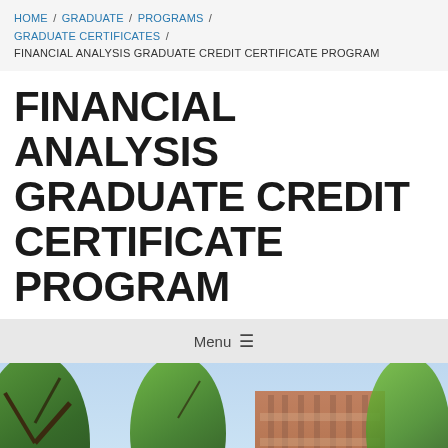HOME / GRADUATE / PROGRAMS / GRADUATE CERTIFICATES / FINANCIAL ANALYSIS GRADUATE CREDIT CERTIFICATE PROGRAM
FINANCIAL ANALYSIS GRADUATE CREDIT CERTIFICATE PROGRAM
Menu ≡
[Figure (photo): Photograph of a university campus building — a multi-story brick building visible behind large leafy green trees in summer, with a lower brick structure in the foreground.]